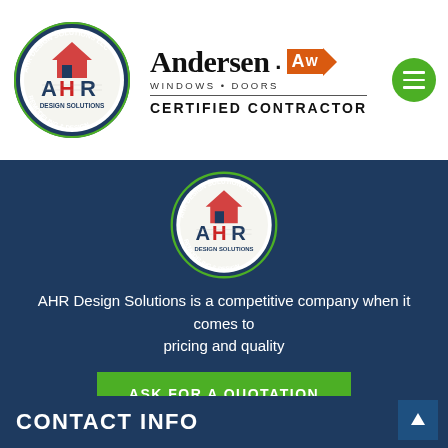[Figure (logo): AHR Design Solutions LLC Remodeling & Design circular logo with house icon]
[Figure (logo): Andersen Windows Doors AW Certified Contractor logo]
[Figure (logo): Green hamburger menu button]
[Figure (logo): AHR Design Solutions LLC Remodeling & Design circular logo (blue section)]
AHR Design Solutions is a competitive company when it comes to pricing and quality
[Figure (other): Green button with text ASK FOR A QUOTATION]
CONTACT INFO